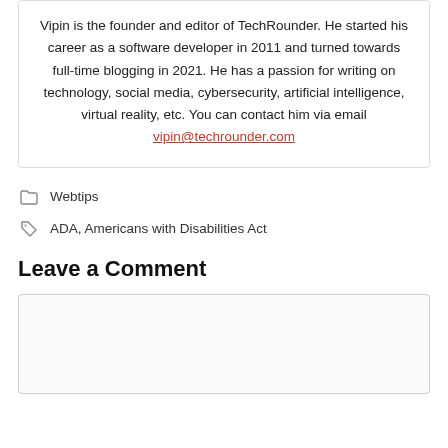Vipin is the founder and editor of TechRounder. He started his career as a software developer in 2011 and turned towards full-time blogging in 2021. He has a passion for writing on technology, social media, cybersecurity, artificial intelligence, virtual reality, etc. You can contact him via email vipin@techrounder.com
Webtips
ADA, Americans with Disabilities Act
Leave a Comment